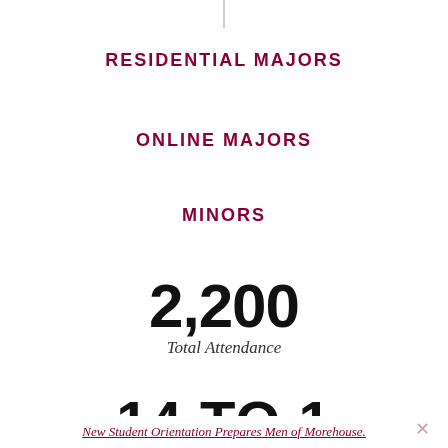RESIDENTIAL MAJORS
ONLINE MAJORS
MINORS
2,200
Total Attendance
14 TO 1
Student to Faculty Ratio
New Student Orientation Prepares Men of Morehouse.